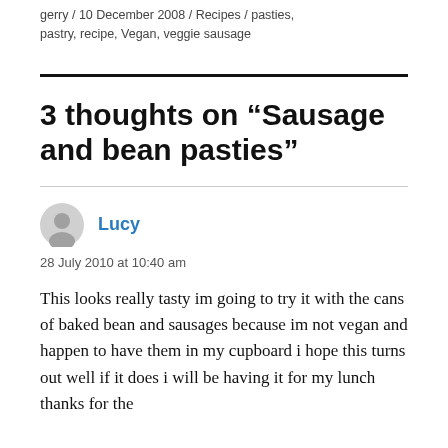gerry / 10 December 2008 / Recipes / pasties, pastry, recipe, Vegan, veggie sausage
3 thoughts on “Sausage and bean pasties”
Lucy
28 July 2010 at 10:40 am
This looks really tasty im going to try it with the cans of baked bean and sausages because im not vegan and happen to have them in my cupboard i hope this turns out well if it does i will be having it for my lunch thanks for the